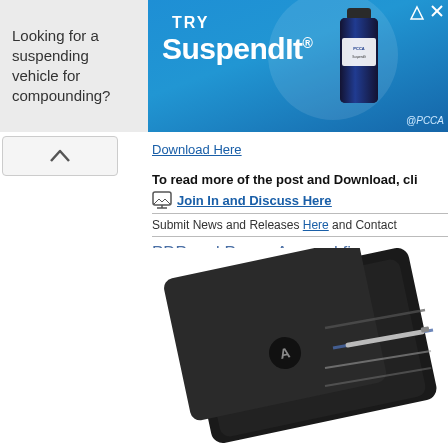[Figure (photo): Advertisement banner: 'Looking for a suspending vehicle for compounding? TRY SuspendIt® PCCA' with bottle image on blue background]
Download Here
To read more of the post and Download, cli
Join In and Discuss Here
Submit News and Releases Here and Contact
PDP and Power A reveal fi
March 26th, 2011, 23:51 Posted By: wraggste
[Figure (photo): Photo of a black gaming controller case/wallet with accessories]